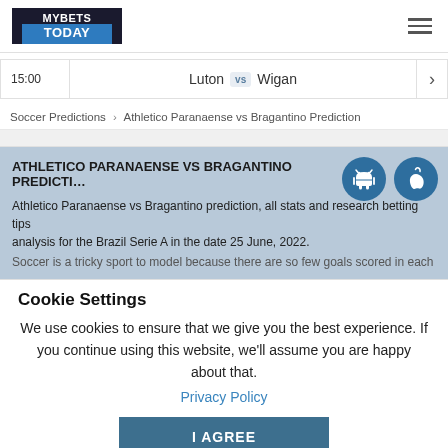MYBETS TODAY
15:00  Luton vs Wigan
Soccer Predictions > Athletico Paranaense vs Bragantino Prediction
ATHLETICO PARANAENSE VS BRAGANTINO PREDICTI...
Athletico Paranaense vs Bragantino prediction, all stats and research betting tips analysis for the Brazil Serie A in the date 25 June, 2022.
Soccer is a tricky sport to model because there are so few goals scored in each
Cookie Settings
We use cookies to ensure that we give you the best experience. If you continue using this website, we'll assume you are happy about that.
Privacy Policy
I AGREE